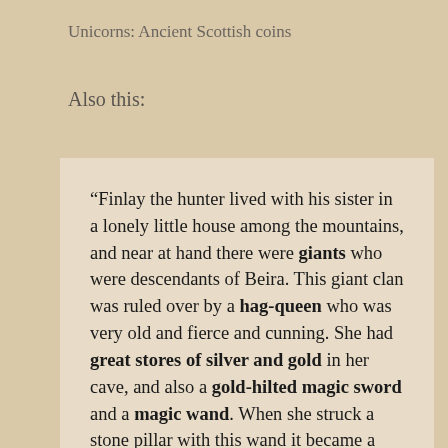Unicorns: Ancient Scottish coins
Also this:
“Finlay the hunter lived with his sister in a lonely little house among the mountains, and near at hand there were giants who were descendants of Beira. This giant clan was ruled over by a hag-queen who was very old and fierce and cunning. She had great stores of silver and gold in her cave, and also a gold-hilted magic sword and a magic wand. When she struck a stone pillar with this wand it became a warrior, and if she put the gold-hilted sword into his hand, the greatest and strongest hero in the world